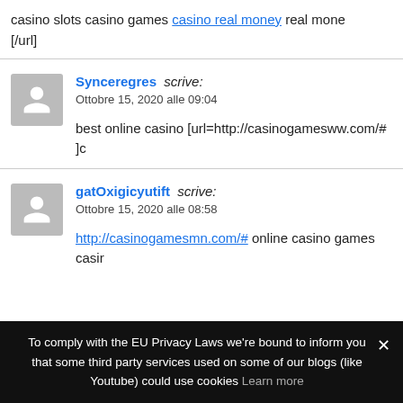casino slots casino games casino real money real mone [/url]
Synceregres scrive: Ottobre 15, 2020 alle 09:04
best online casino [url=http://casinogamesww.com/# ]c
gatOxigicyutift scrive: Ottobre 15, 2020 alle 08:58
http://casinogamesmn.com/# online casino games casir
To comply with the EU Privacy Laws we're bound to inform you that some third party services used on some of our blogs (like Youtube) could use cookies Learn more